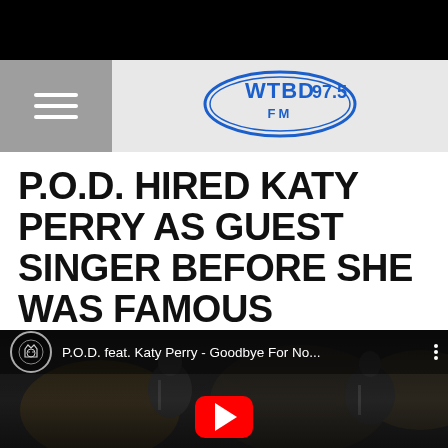[Figure (logo): WTBD 97.5 FM radio station logo in blue and white on a badge/stamp design]
P.O.D. HIRED KATY PERRY AS GUEST SINGER BEFORE SHE WAS FAMOUS
Graham Hartmann
Published: October 15, 2015
[Figure (screenshot): YouTube video thumbnail showing P.O.D. feat. Katy Perry - Goodbye For No... with concert performance footage and YouTube play button]